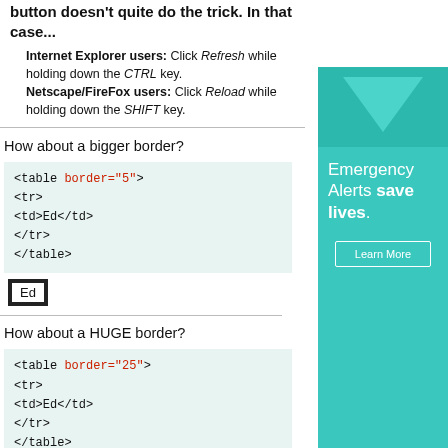button doesn't quite do the trick. In that case...
Internet Explorer users: Click Refresh while holding down the CTRL key.
Netscape/FireFox users: Click Reload while holding down the SHIFT key.
How about a bigger border?
<table border="5">
<tr>
<td>Ed</td>
</tr>
</table>
[Figure (other): A table cell with thick border showing 'Ed' inside]
How about a HUGE border?
<table border="25">
<tr>
<td>Ed</td>
</tr>
</table>
[Figure (other): Advertisement sidebar: Emergency Alerts save lives. Learn More button on teal background.]